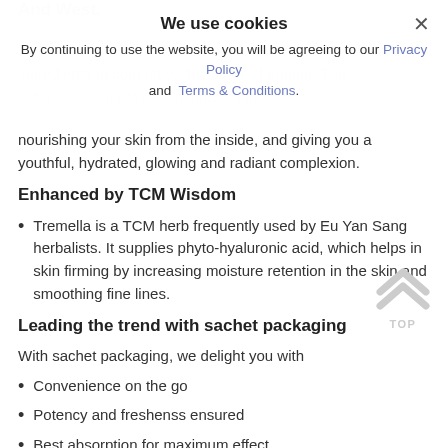[Figure (screenshot): Cookie consent overlay dialog with title 'We use cookies', close button (×), and body text linking to Privacy Policy and Terms & Conditions]
enhanced formulation ensures rapid absorption, nourishing your skin from the inside, and giving you a youthful, hydrated, glowing and radiant complexion.
Enhanced by TCM Wisdom
Tremella is a TCM herb frequently used by Eu Yan Sang herbalists. It supplies phyto-hyaluronic acid, which helps in skin firming by increasing moisture retention in the skin and smoothing fine lines.
Leading the trend with sachet packaging
With sachet packaging, we delight you with
Convenience on the go
Potency and freshenss ensured
Best absorption for maximum effect